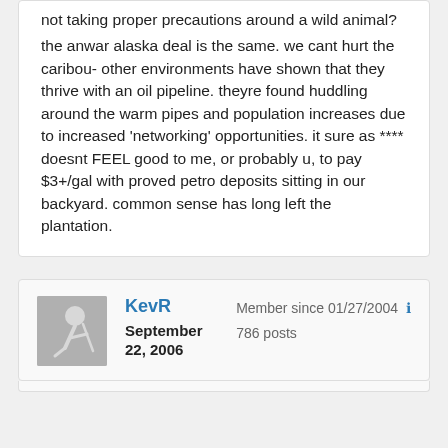not taking proper precautions around a wild animal?

the anwar alaska deal is the same. we cant hurt the caribou- other environments have shown that they thrive with an oil pipeline. theyre found huddling around the warm pipes and population increases due to increased 'networking' opportunities. it sure as **** doesnt FEEL good to me, or probably u, to pay $3+/gal with proved petro deposits sitting in our backyard. common sense has long left the plantation.
KevR
September 22, 2006
Member since 01/27/2004
786 posts